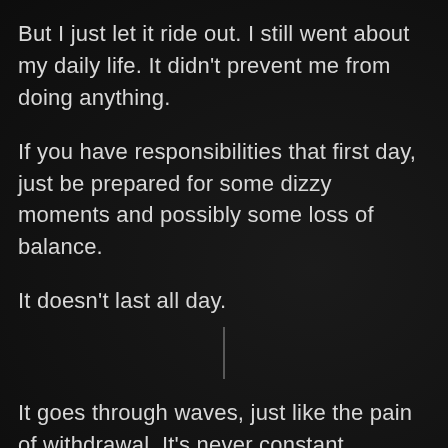But I just let it ride out. I still went about my daily life. It didn't prevent me from doing anything.
If you have responsibilities that first day, just be prepared for some dizzy moments and possibly some loss of balance.
It doesn't last all day.
It goes through waves, just like the pain of withdrawal. It's never constant.